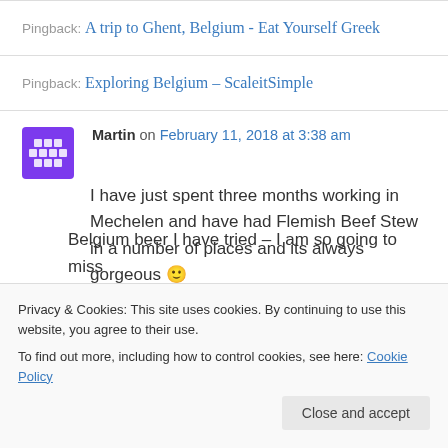Pingback: A trip to Ghent, Belgium - Eat Yourself Greek
Pingback: Exploring Belgium – ScaleitSimple
Martin on February 11, 2018 at 3:38 am
I have just spent three months working in Mechelen and have had Flemish Beef Stew in a number of places and its always gorgeous 🙂
Belgium beer I have tried – I am so going to miss
Privacy & Cookies: This site uses cookies. By continuing to use this website, you agree to their use. To find out more, including how to control cookies, see here: Cookie Policy
Close and accept